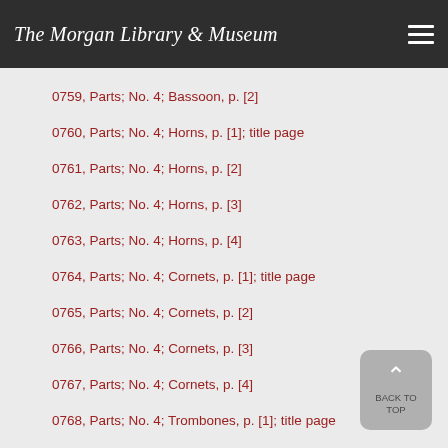The Morgan Library & Museum
0759, Parts; No. 4; Bassoon, p. [2]
0760, Parts; No. 4; Horns, p. [1]; title page
0761, Parts; No. 4; Horns, p. [2]
0762, Parts; No. 4; Horns, p. [3]
0763, Parts; No. 4; Horns, p. [4]
0764, Parts; No. 4; Cornets, p. [1]; title page
0765, Parts; No. 4; Cornets, p. [2]
0766, Parts; No. 4; Cornets, p. [3]
0767, Parts; No. 4; Cornets, p. [4]
0768, Parts; No. 4; Trombones, p. [1]; title page